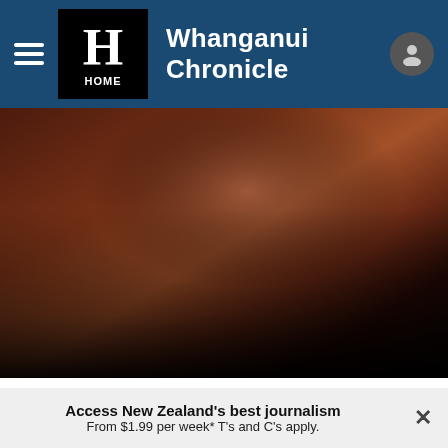Whanganui Chronicle
[Figure (photo): Dark blurred hero image with brown/dark tones, appears to be a partially visible person or object in low light]
"Your disk is almost full" – the latest warning message
Access New Zealand's best journalism From $1.99 per week* T's and C's apply.